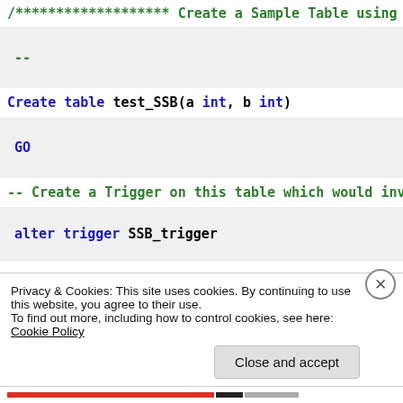/******************* Create a Sample Table using which w
--
Create table test_SSB(a int, b int)
GO
-- Create a Trigger on this table which would invoke the SSB
alter trigger SSB_trigger
Privacy & Cookies: This site uses cookies. By continuing to use this website, you agree to their use. To find out more, including how to control cookies, see here: Cookie Policy
Close and accept